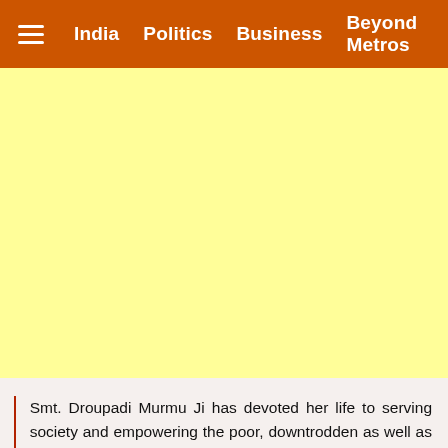≡ India   Politics   Business   Beyond Metros
[Figure (other): Yellow advertisement banner block]
Smt. Droupadi Murmu Ji has devoted her life to serving society and empowering the poor, downtrodden as well as the marginalised. She has